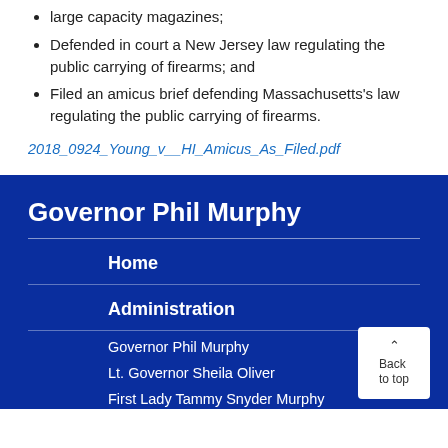large capacity magazines;
Defended in court a New Jersey law regulating the public carrying of firearms; and
Filed an amicus brief defending Massachusetts's law regulating the public carrying of firearms.
2018_0924_Young_v__HI_Amicus_As_Filed.pdf
Governor Phil Murphy
Home
Administration
Governor Phil Murphy
Lt. Governor Sheila Oliver
First Lady Tammy Snyder Murphy